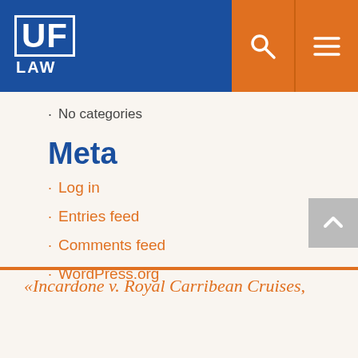[Figure (logo): UF LAW logo in white on blue background with orange search and menu icons]
No categories
Meta
Log in
Entries feed
Comments feed
WordPress.org
«Incardone v. Royal Carribean Cruises,